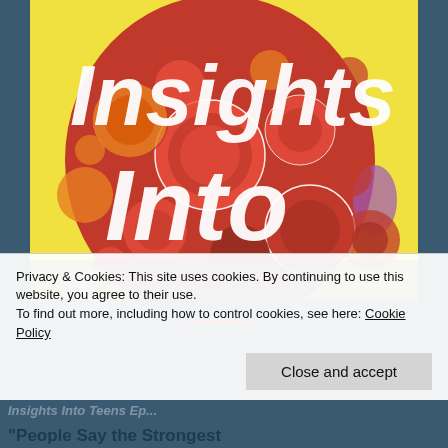[Figure (illustration): Book or website cover image on yellow background showing a human head silhouette in red filled with colorful gears and cogs. Large white bold italic text overlaid reads 'Insights Into' across the image. The bottom portion fades into a teal/dark blue background.]
Privacy & Cookies: This site uses cookies. By continuing to use this website, you agree to their use.
To find out more, including how to control cookies, see here: Cookie Policy
Close and accept
Insights Into Teens Ep...
"People Say the Strongest...